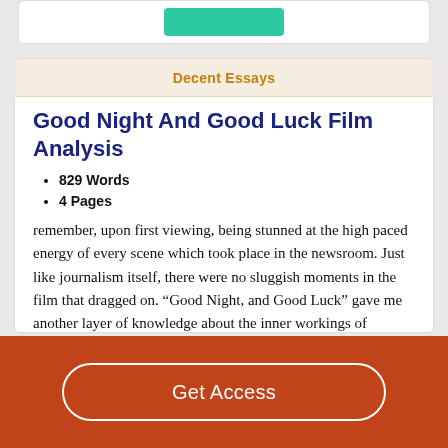Decent Essays
Good Night And Good Luck Film Analysis
829 Words
4 Pages
remember, upon first viewing, being stunned at the high paced energy of every scene which took place in the newsroom. Just like journalism itself, there were no sluggish moments in the film that dragged on. “Good Night, and Good Luck” gave me another layer of knowledge about the inner workings of newsrooms, short of being present within one. It also highlighted the importance of every word and message
Get Access